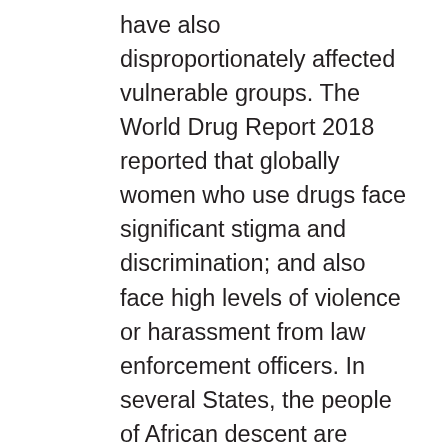have also disproportionately affected vulnerable groups. The World Drug Report 2018 reported that globally women who use drugs face significant stigma and discrimination; and also face high levels of violence or harassment from law enforcement officers. In several States, the people of African descent are disproportionately affected by excessively punitive drug policies and law enforcement efforts. Racial profiling in many countries has made people of African descent a targeted group in the so-called “war on drugs”. The United Nations Working Group of Experts on People of African Descent called for an end to racism, racial discrimination, xenophobia, Afrophobia and related intolerance, including their manifestations in the adoption and